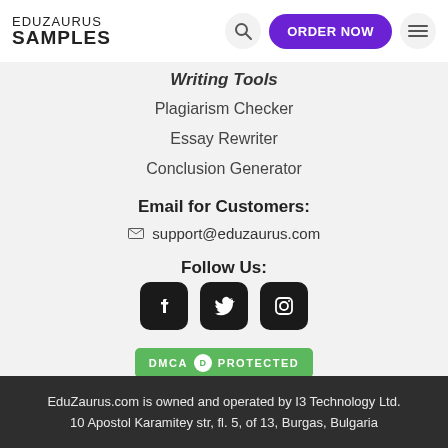EDUZAURUS SAMPLES
Writing Tools
Plagiarism Checker
Essay Rewriter
Conclusion Generator
Email for Customers:
support@eduzaurus.com
Follow Us:
[Figure (logo): Social media icons: Facebook, Twitter, Instagram]
[Figure (logo): DMCA Protected badge]
EduZaurus.com is owned and operated by I3 Technology Ltd. 10 Apostol Karamitey str, fl. 5, of 13, Burgas, Bulgaria